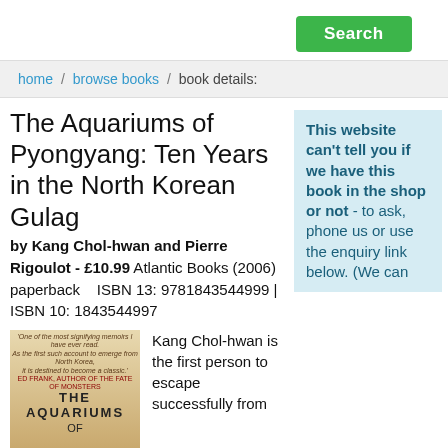Search
home / browse books / book details:
The Aquariums of Pyongyang: Ten Years in the North Korean Gulag
by Kang Chol-hwan and Pierre Rigoulot - £10.99  Atlantic Books (2006)
paperback    ISBN 13: 9781843544999 | ISBN 10: 1843544997
[Figure (photo): Book cover of The Aquariums of Pyongyang]
Kang Chol-hwan is the first person to escape successfully from
This website can't tell you if we have this book in the shop or not - to ask, phone us or use the enquiry link below. (We can